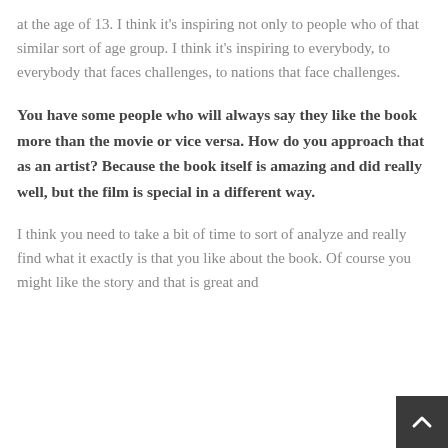at the age of 13. I think it's inspiring not only to people who of that similar sort of age group. I think it's inspiring to everybody, to everybody that faces challenges, to nations that face challenges.
You have some people who will always say they like the book more than the movie or vice versa. How do you approach that as an artist? Because the book itself is amazing and did really well, but the film is special in a different way.
I think you need to take a bit of time to sort of analyze and really find what it exactly is that you like about the book. Of course you might like the story and that is great and